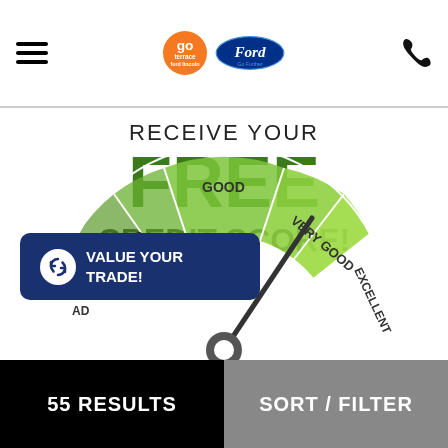Go Terrace Ford Lincoln | Ford Go Further
RECEIVE YOUR FREE CREDIT SCORE!
[Figure (infographic): Credit score gauge/speedometer showing sections labeled: BAD, GOOD, VERY GOOD, EXCELLENT in shades of green. The needle points toward VERY GOOD.]
[Figure (infographic): Button overlay: VALUE YOUR TRADE! with refresh icon on dark blue background.]
55 RESULTS | SORT / FILTER